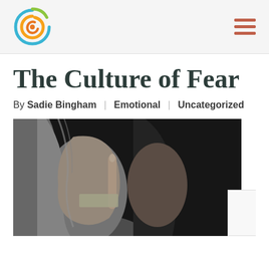The Culture of Fear
By Sadie Bingham | Emotional | Uncategorized
[Figure (photo): Black and white photo of a woman holding her finger to her lips in a shushing gesture, with tape over her mouth]